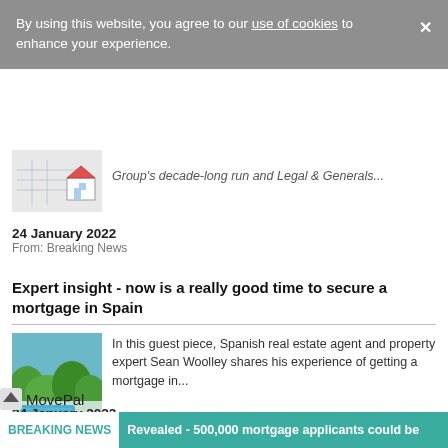By using this website, you agree to our use of cookies to enhance your experience.
[Figure (photo): Small house/property icon with red roof, partially visible at top of page]
Group's decade-long run and Legal & Generals...
24 January 2022
From: Breaking News
Expert insight - now is a really good time to secure a mortgage in Spain
[Figure (photo): Outdoor swimming pool with blue water, green trees and hills in background, Spanish property]
In this guest piece, Spanish real estate agent and property expert Sean Woolley shares his experience of getting a mortgage in...
24 January 2022
From: Breaking News
[Figure (logo): MovePal logo]
BREAKING NEWS  Revealed - 500,000 mortgage applicants could be